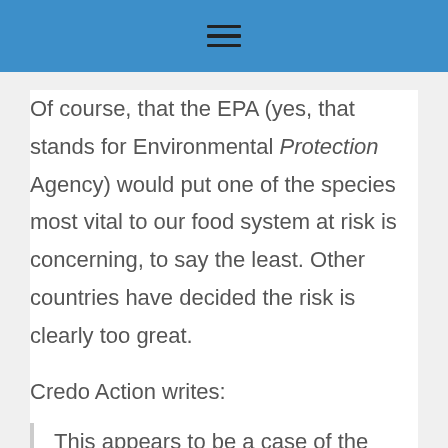☰
Of course, that the EPA (yes, that stands for Environmental Protection Agency) would put one of the species most vital to our food system at risk is concerning, to say the least. Other countries have decided the risk is clearly too great.
Credo Action writes:
This appears to be a case of the E.P.A. catering to the needs of a large chemical corporation at the expense of